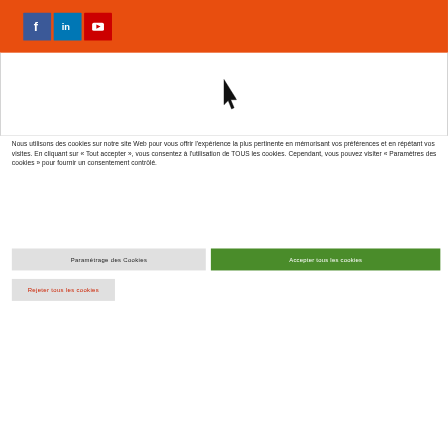[Figure (screenshot): Orange header bar with three social media icon buttons: Facebook (blue), LinkedIn (light blue), YouTube (red)]
[Figure (screenshot): White content area with a mouse cursor arrow icon in the center]
Nous utilisons des cookies sur notre site Web pour vous offrir l'expérience la plus pertinente en mémorisant vos préférences et en répétant vos visites. En cliquant sur « Tout accepter », vous consentez à l'utilisation de TOUS les cookies. Cependant, vous pouvez visiter « Paramètres des cookies » pour fournir un consentement contrôlé.
Paramétrage des Cookies
Accepter tous les cookies
Rejeter tous les cookies